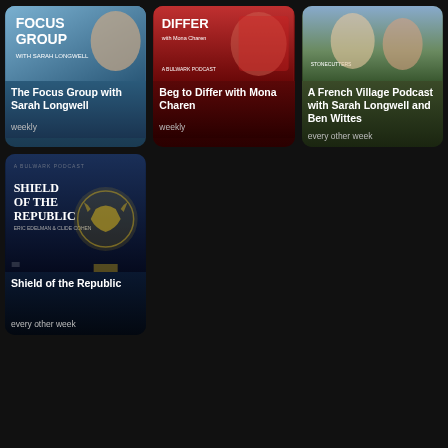[Figure (illustration): The Focus Group with Sarah Longwell podcast card with podcast art showing a woman and text on blue background]
The Focus Group with Sarah Longwell
weekly
[Figure (illustration): Beg to Differ with Mona Charen podcast card with red background art]
Beg to Differ with Mona Charen
weekly
[Figure (illustration): A French Village Podcast with Sarah Longwell and Ben Wittes podcast card with outdoor background art]
A French Village Podcast with Sarah Longwell and Ben Wittes
every other week
[Figure (illustration): Shield of the Republic podcast card with dark blue eagle emblem art]
Shield of the Republic
every other week